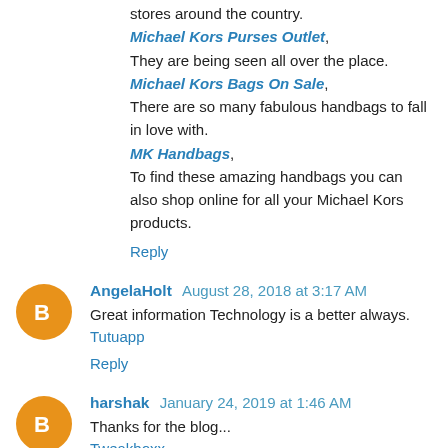stores around the country.
Michael Kors Purses Outlet,
They are being seen all over the place.
Michael Kors Bags On Sale,
There are so many fabulous handbags to fall in love with.
MK Handbags,
To find these amazing handbags you can also shop online for all your Michael Kors products.
Reply
AngelaHolt  August 28, 2018 at 3:17 AM
Great information Technology is a better always. Tutuapp
Reply
harshak  January 24, 2019 at 1:46 AM
Thanks for the blog...
Tweakboxx
Reply